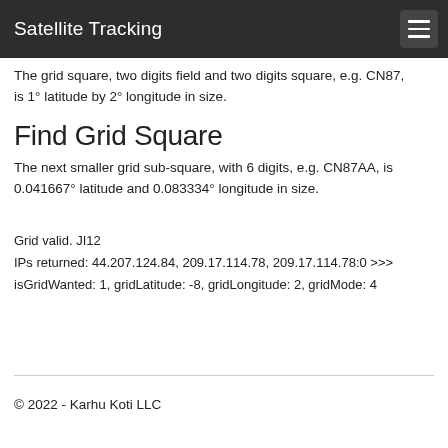Satellite Tracking
The grid square, two digits field and two digits square, e.g. CN87, is 1° latitude by 2° longitude in size.
Find Grid Square
The next smaller grid sub-square, with 6 digits, e.g. CN87AA, is 0.041667° latitude and 0.083334° longitude in size.
Grid valid. JI12
IPs returned: 44.207.124.84, 209.17.114.78, 209.17.114.78:0 >>>
isGridWanted: 1, gridLatitude: -8, gridLongitude: 2, gridMode: 4
© 2022 - Karhu Koti LLC